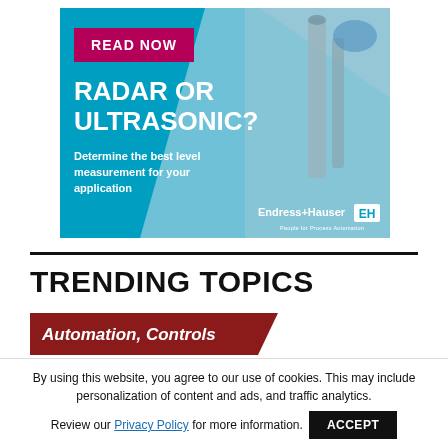[Figure (infographic): Endress+Hauser advertisement banner with blue background, industrial equipment photo on right, 'READ NOW' button in magenta, headline 'RADAR OR ULTRASONIC?', subtext 'Determine the best level measurement for your application', and Endress+Hauser logo with EH box.]
TRENDING TOPICS
Automation, Controls
By using this website, you agree to our use of cookies. This may include personalization of content and ads, and traffic analytics. Review our Privacy Policy for more information.